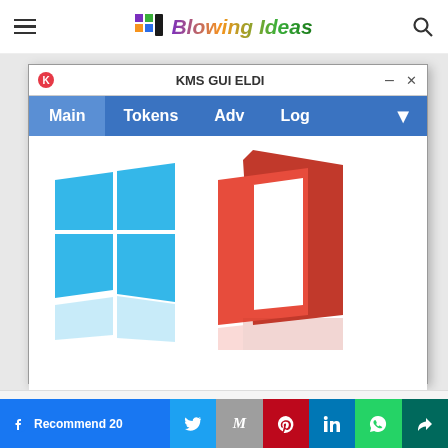Blowing Ideas
[Figure (screenshot): KMS GUI ELDI application window showing Windows logo and Microsoft Office logo with Main, Tokens, Adv, Log menu tabs on a blue navigation bar]
This website uses cookies.
[Figure (infographic): Social sharing bar with Facebook Recommend 20, Twitter, Gmail, Pinterest, LinkedIn, WhatsApp, and share buttons]